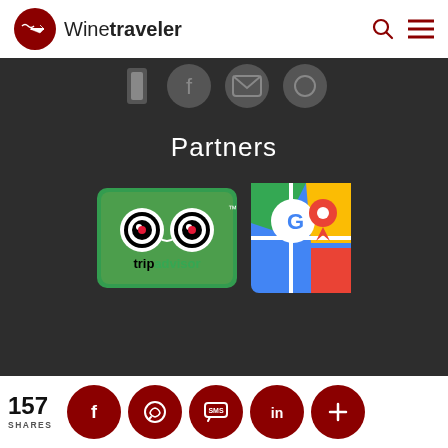Winetraveler
[Figure (logo): Winetraveler logo with red circle containing airplane icon and text 'Winetraveler']
[Figure (infographic): Dark background section with social media icons strip at top, 'Partners' heading, TripAdvisor and Google Maps partner logos]
Partners
[Figure (logo): TripAdvisor logo - green background with owl eyes icon and 'tripadvisor' text]
[Figure (logo): Google Maps logo]
157 SHARES